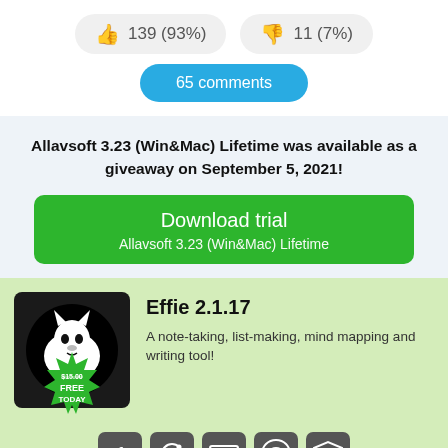139 (93%)
11 (7%)
65 comments
Allavsoft 3.23 (Win&Mac) Lifetime was available as a giveaway on September 5, 2021!
Download trial
Allavsoft 3.23 (Win&Mac) Lifetime
Effie 2.1.17
A note-taking, list-making, mind mapping and writing tool!
[Figure (infographic): Effie app logo: black circle with white wolf/animal silhouette, with a green 'FREE TODAY' badge overlay showing $15.00 struck through]
[Figure (infographic): Row of social sharing icon buttons (dark rounded squares)]